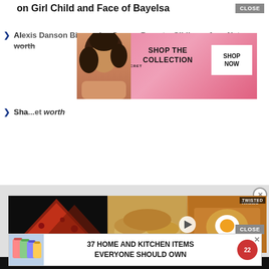on Girl Child and Face of Bayelsa
Alexis Danson Biography, Career, Parents, Siblings, Age, Net worth
[Figure (photo): Victoria's Secret advertisement banner with model and shop the collection button]
Sha... net worth
[Figure (photo): Seamless pizza food delivery advertisement alongside Twisted food video player showing cooked egg dish and bread rolls]
CLOSE
[Figure (photo): 37 Home and Kitchen Items Everyone Should Own advertisement banner with colorful storage bags]